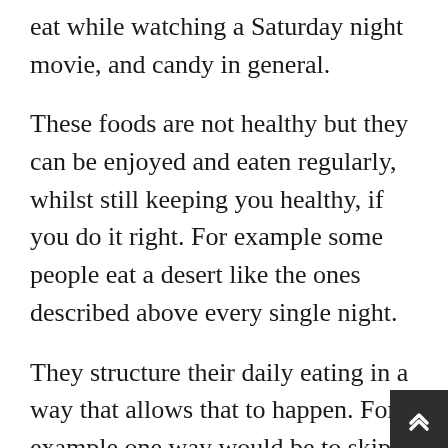eat while watching a Saturday night movie, and candy in general.
These foods are not healthy but they can be enjoyed and eaten regularly, whilst still keeping you healthy, if you do it right. For example some people eat a desert like the ones described above every single night.
They structure their daily eating in a way that allows that to happen. For example one way would be to skip breakfast, which is really intermittent fasting, thus leaving room for more calories later on at lunch and at dinner. Since they didn't eat